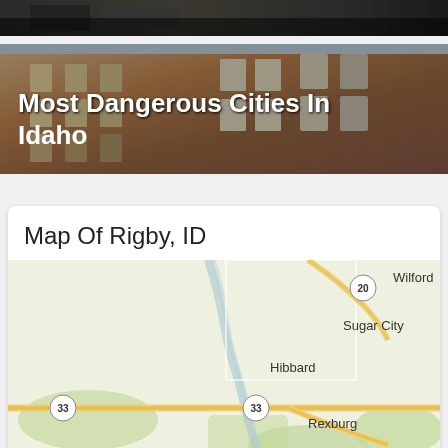[Figure (photo): Partial top photo, dark/blurred image at top of page]
[Figure (photo): Photo of brick rowhouse buildings with text overlay 'Most Dangerous Cities In Idaho']
Map Of Rigby, ID
[Figure (map): Google Maps screenshot showing area near Rigby, ID with towns Wilford, Sugar City, Hibbard, Rexburg labeled, and route 20 and 33 highways shown]